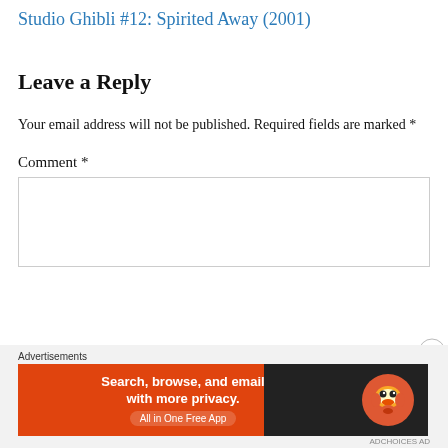Studio Ghibli #12: Spirited Away (2001)
Leave a Reply
Your email address will not be published. Required fields are marked *
Comment *
[Figure (other): Empty comment text area input box]
[Figure (other): DuckDuckGo advertisement banner: Search, browse, and email with more privacy. All in One Free App. DuckDuckGo logo on dark background.]